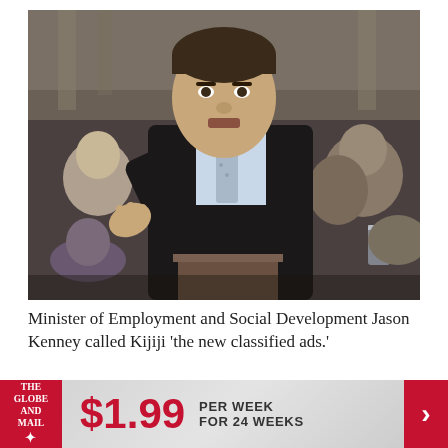[Figure (photo): Minister of Employment and Social Development Jason Kenney standing and speaking in the House of Commons, gesturing with his right hand. He is wearing a dark suit with a light blue striped shirt and light blue tie. Other Members of Parliament are visible seated in the background.]
Minister of Employment and Social Development Jason Kenney called Kijiji ‘the new classified ads.’
ADRIAN WYLD/THE CANADIAN PRESS
[Figure (advertisement): The Globe and Mail subscription advertisement banner. Shows The Globe and Mail logo on the left in red, large red price text '$1.99', and text 'PER WEEK FOR 24 WEEKS' with a red arrow chevron on the right.]